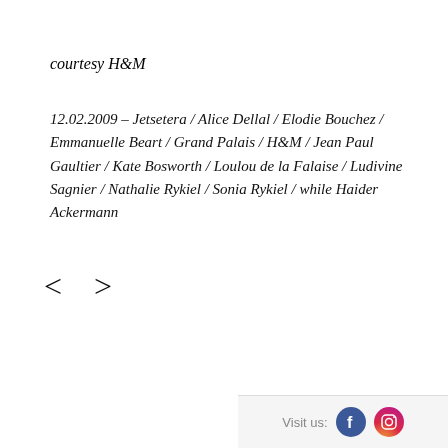courtesy H&M
12.02.2009 – Jetsetera / Alice Dellal / Elodie Bouchez / Emmanuelle Beart / Grand Palais / H&M / Jean Paul Gaultier / Kate Bosworth / Loulou de la Falaise / Ludivine Sagnier / Nathalie Rykiel / Sonia Rykiel / while Haider Ackermann
< >
Visit us: